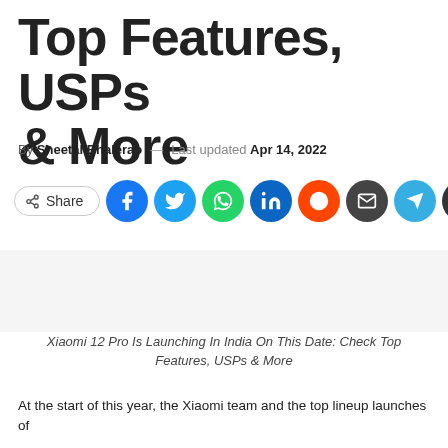Top Features, USPs & More
By Sheetal Bhalerao — Last updated Apr 14, 2022
[Figure (infographic): Share button row with Share label button, followed by social media icon circles: Facebook (blue), Twitter (light blue), WhatsApp (green), LinkedIn (dark blue), Reddit (orange), Email (dark gray), Telegram (light blue), Print (dark gray)]
Xiaomi 12 Pro Is Launching In India On This Date: Check Top Features, USPs & More
At the start of this year, the Xiaomi team and the top lineup launches of